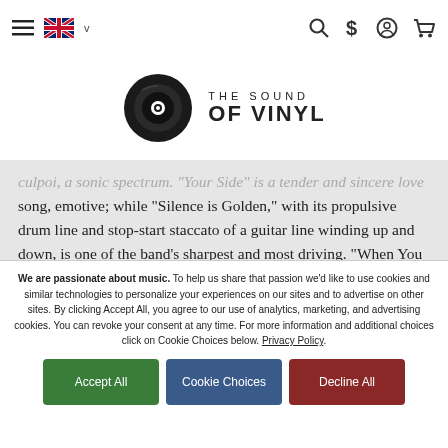Navigation bar with hamburger menu, UK flag, language selector, search, dollar sign, user, cart icons
[Figure (logo): The Sound of Vinyl logo - vinyl record icon with text THE SOUND OF VINYL]
culpoi, a sonic spectrum. "Your Side" is a tender and sincere love song, emotive; while "Silence is Golden," with its propulsive drum line and stop-start staccato of a guitar line winding up and down, is one of the band's sharpest and most driving. "When You Know You Know" skews a bit groovier, pure pop and a natural addition to the band's live set. "Knees Deep" was written last minute, but yields one of the best guitar lines on Expert. There's a certain chaos
We are passionate about music. To help us share that passion we'd like to use cookies and similar technologies to personalize your experiences on our sites and to advertise on other sites. By clicking Accept All, you agree to our use of analytics, marketing, and advertising cookies. You can revoke your consent at any time. For more information and additional choices click on Cookie Choices below. Privacy Policy.